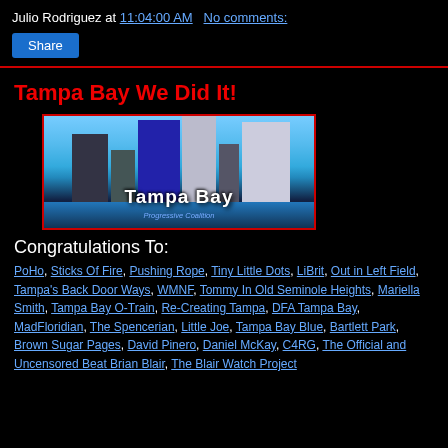Julio Rodriguez at 11:04:00 AM   No comments:
[Figure (photo): Tampa Bay skyline photo with tall buildings reflected over water, with 'Tampa Bay' text overlay and 'Progressive Coalition' subtitle in blue]
Tampa Bay We Did It!
Congratulations To:
PoHo, Sticks Of Fire, Pushing Rope, Tiny Little Dots, LiBrit, Out in Left Field, Tampa's Back Door Ways, WMNF, Tommy In Old Seminole Heights, Mariella Smith, Tampa Bay O-Train, Re-Creating Tampa, DFA Tampa Bay, MadFloridian, The Spencerian, Little Joe, Tampa Bay Blue, Bartlett Park, Brown Sugar Pages, David Pinero, Daniel McKay, C4RG, The Official and Uncensored Beat Brian Blair, The Blair Watch Project